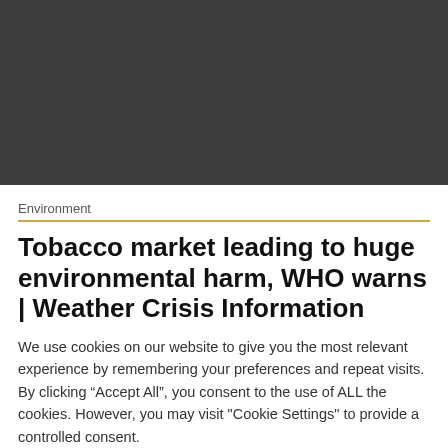[Figure (photo): Dark gray/charcoal colored image area, content not visible]
Environment
Tobacco market leading to huge environmental harm, WHO warns | Weather Crisis Information
We use cookies on our website to give you the most relevant experience by remembering your preferences and repeat visits. By clicking “Accept All”, you consent to the use of ALL the cookies. However, you may visit "Cookie Settings" to provide a controlled consent.